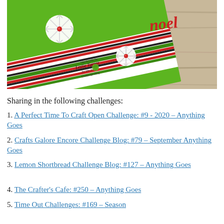[Figure (photo): A handmade Christmas card with green card stock, red and green striped patterned paper, white die-cut snowflakes with red gem centers, and a red script 'noel' word. Stamped with 'Handmade by Leslie Turner for Mix It Up Challenge Blog' logo.]
Sharing in the following challenges:
1. A Perfect Time To Craft Open Challenge: #9-2020 – Anything Goes
2. Crafts Galore Encore Challenge Blog: #79 – September Anything Goes
3. Lemon Shortbread Challenge Blog: #127 – Anything Goes
4. The Crafter's Cafe: #250 – Anything Goes
5. Time Out Challenges: #169 – Season